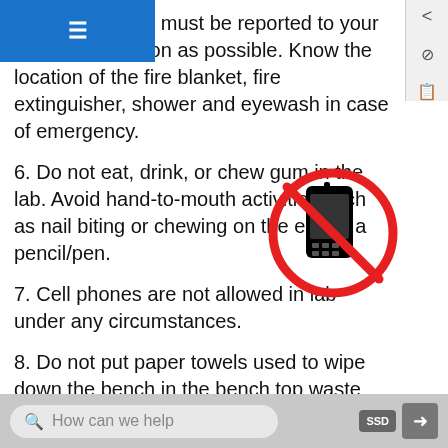dents or injuries must be reported to your instructor as soon as possible. Know the location of the fire blanket, fire extinguisher, shower and eyewash in case of emergency.
6. Do not eat, drink, or chew gum in the lab. Avoid hand-to-mouth activities such as nail biting or chewing on the end of a pencil/pen.
[Figure (illustration): No cell phone symbol — a red circle with a diagonal red line through a black mobile phone icon]
7. Cell phones are not allowed in lab under any circumstances.
8. Do not put paper towels used to wipe down the bench in the bench top waste baskets.
9. Bunsen burners should never be left unattended